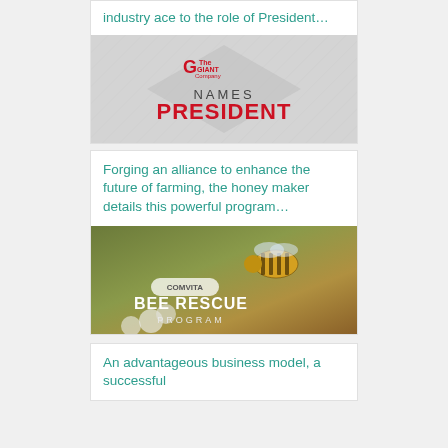industry ace to the role of President…
[Figure (logo): The Giant Company logo with text NAMES PRESIDENT in red on a grey geometric background]
Forging an alliance to enhance the future of farming, the honey maker details this powerful program…
[Figure (photo): Comvita Bee Rescue Program image showing a bee on white flowers with green background]
An advantageous business model, a successful